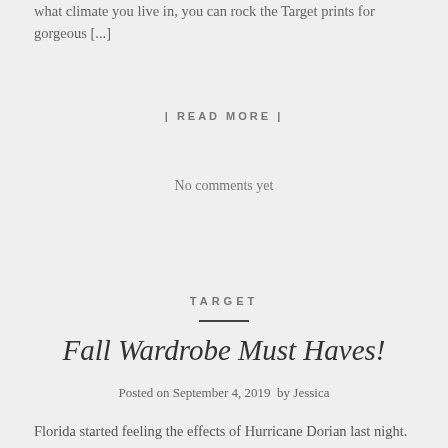what climate you live in, you can rock the Target prints for gorgeous [...]
| READ MORE |
No comments yet
TARGET
Fall Wardrobe Must Haves!
Posted on September 4, 2019  by Jessica
Florida started feeling the effects of Hurricane Dorian last night. As I sit here, watching the rain/wind bands roll through ~ I can't help but dream of Pumpkins & Fall! Target